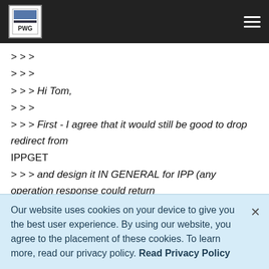PWG navigation bar
> > >
> > >
> > > Hi Tom,
> > >
> > > First - I agree that it would still be good to drop redirect from IPPGET
> > > and design it IN GENERAL for IPP (any operation response could return
> > > the redirect), including the fact that while it's nice for
> > interoperability
> > > IPP Clients do NOT need to honor and follow redirects
Our website uses cookies on your device to give you the best user experience. By using our website, you agree to the placement of these cookies. To learn more, read our privacy policy. Read Privacy Policy